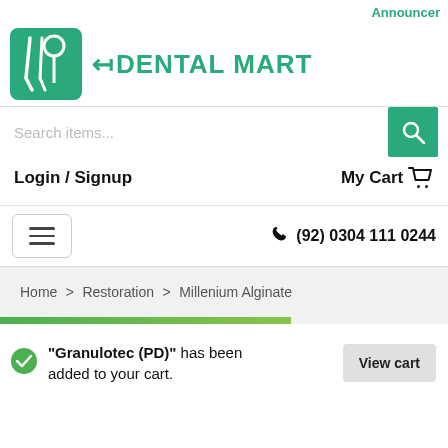Announcer
[Figure (logo): E-Dental Mart logo with teal dental tools icon and teal brand name]
Search items...
Login / Signup   My Cart
(92) 0304 111 0244
Home > Restoration > Millenium Alginate
"Granulotec (PD)" has been added to your cart.
View cart